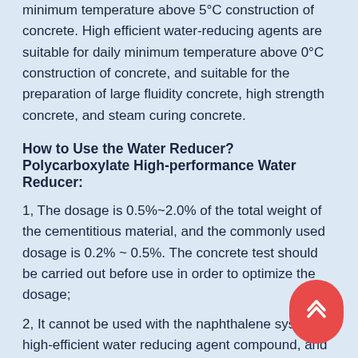minimum temperature above 5°C construction of concrete. High efficient water-reducing agents are suitable for daily minimum temperature above 0°C construction of concrete, and suitable for the preparation of large fluidity concrete, high strength concrete, and steam curing concrete.
How to Use the Water Reducer?
Polycarboxylate High-performance Water Reducer:
1, The dosage is 0.5%~2.0% of the total weight of the cementitious material, and the commonly used dosage is 0.2% ~ 0.5%. The concrete test should be carried out before use in order to optimize the dosage;
2, It cannot be used with the naphthalene system high-efficient water reducing agent compound, and other admixtures should also be used in advance of concrete compatibility experiment;